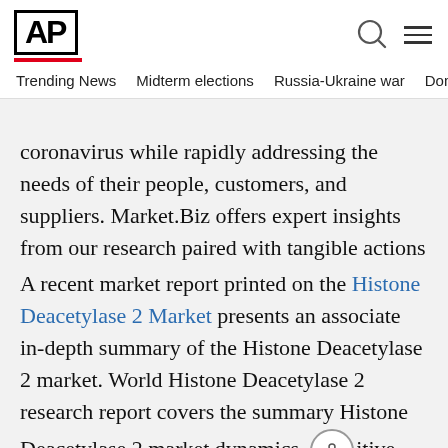AP
Trending News  Midterm elections  Russia-Ukraine war  Dona
coronavirus while rapidly addressing the needs of their people, customers, and suppliers. Market.Biz offers expert insights from our research paired with tangible actions that your organization can take to turn massive complexity into meaningful change.
A recent market report printed on the Histone Deacetylase 2 Market presents an associate in-depth summary of the Histone Deacetylase 2 market. World Histone Deacetylase 2 research report covers the summary Histone Deacetylase 2 market dynamics, competitive analysis, and leading players numerous ways to sustain within the world market. with the exception